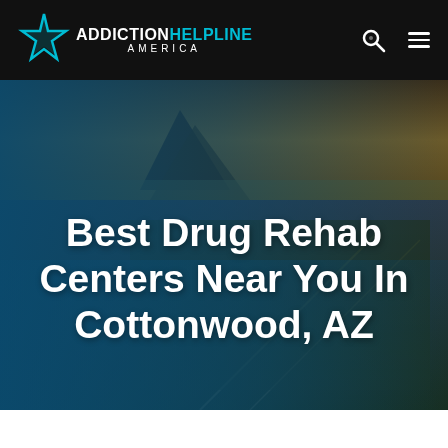[Figure (logo): Addiction Helpline America logo with teal star icon and text]
[Figure (photo): Aerial photograph of Cottonwood AZ with mountain and city landscape, blue gradient overlay on left side]
Best Drug Rehab Centers Near You In Cottonwood, AZ